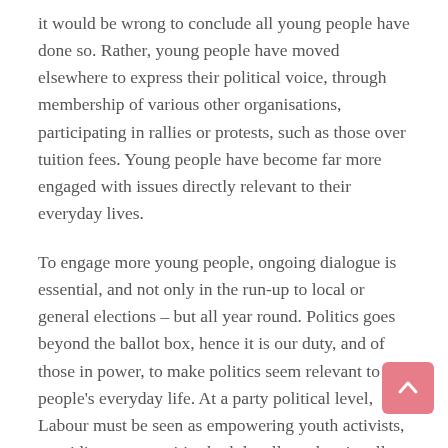it would be wrong to conclude all young people have done so. Rather, young people have moved elsewhere to express their political voice, through membership of various other organisations, participating in rallies or protests, such as those over tuition fees. Young people have become far more engaged with issues directly relevant to their everyday lives.
To engage more young people, ongoing dialogue is essential, and not only in the run-up to local or general elections – but all year round. Politics goes beyond the ballot box, hence it is our duty, and of those in power, to make politics seem relevant to people's everyday life. At a party political level, Labour must be seen as empowering youth activists, providing opportunities both locally and nationally, where young people can run their own projects or campaigns.
What more can be done? Elected representatives are very good at engaging with schools and colleges locally but we must increase the number of opportunities, so that young